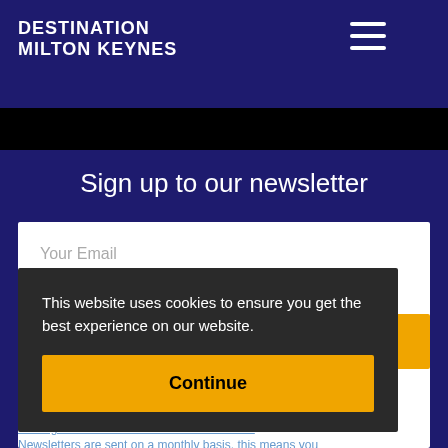DESTINATION MILTON KEYNES
Sign up to our newsletter
Your Email
This website uses cookies to ensure you get the best experience on our website.
Continue
by
clicking the link at the bottom of this website. Newsletters are sent on a monthly basis, this means you